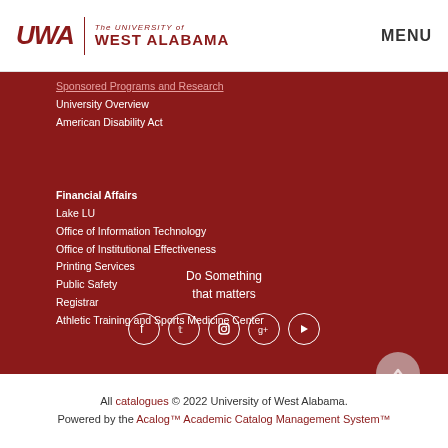[Figure (logo): UWA - The University of West Alabama logo in dark red with vertical divider]
MENU
Sponsored Programs and Research
University Overview
American Disability Act
Financial Affairs
Lake LU
Office of Information Technology
Office of Institutional Effectiveness
Printing Services
Public Safety
Registrar
Athletic Training and Sports Medicine Center
Do Something that matters
[Figure (infographic): Social media icons: Facebook, Twitter, Instagram, Google+, YouTube - white circles on dark red background]
All catalogues © 2022 University of West Alabama. Powered by the Acalog™ Academic Catalog Management System™